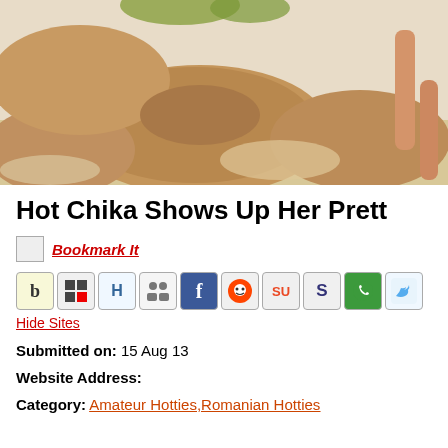[Figure (photo): Outdoor rocky beach/desert scene with rocks and boulders in warm sandy tones, person's legs visible at right side]
Hot Chika Shows Up Her Prett
Bookmark It
[Figure (infographic): Row of social bookmarking icons: b (Blinklist), del.icio.us, Digg, Diigo, Facebook, Reddit, StumbleUpon, Squidoo, WhatsApp-style, Twitter]
Hide Sites
Submitted on: 15 Aug 13
Website Address:
Category: Amateur Hotties,Romanian Hotties